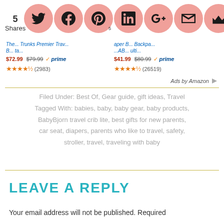[Figure (infographic): Social share icons row: 5 Shares counter on left, followed by pink circular icons for Twitter, Facebook, Pinterest (with badge 5), LinkedIn, Google+, Email, and Crown/bookmark. Below icons are two product listings with titles, prices, prime badges, and star ratings. Ads by Amazon label at bottom right.]
Filed Under: Best Of, Gear guide, gift ideas, Travel
Tagged With: babies, baby, baby gear, baby products, BabyBjorn travel crib lite, best gifts for new parents, car seat, diapers, parents who like to travel, safety, stroller, travel, traveling with baby
LEAVE A REPLY
Your email address will not be published. Required